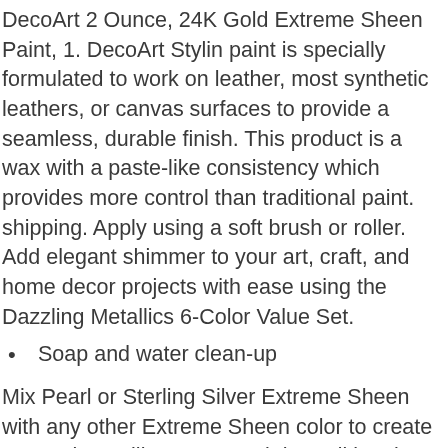DecoArt 2 Ounce, 24K Gold Extreme Sheen Paint, 1. DecoArt Stylin paint is specially formulated to work on leather, most synthetic leathers, or canvas surfaces to provide a seamless, durable finish. This product is a wax with a paste-like consistency which provides more control than traditional paint. shipping. Apply using a soft brush or roller. Add elegant shimmer to your art, craft, and home decor projects with ease using the Dazzling Metallics 6-Color Value Set.
Soap and water clean-up
Mix Pearl or Sterling Silver Extreme Sheen with any other Extreme Sheen color to create a pastel metallic or more subtle traditional metallic color. Layer varying shades of Extreme Sheen paint colors using a dry brush technique to create